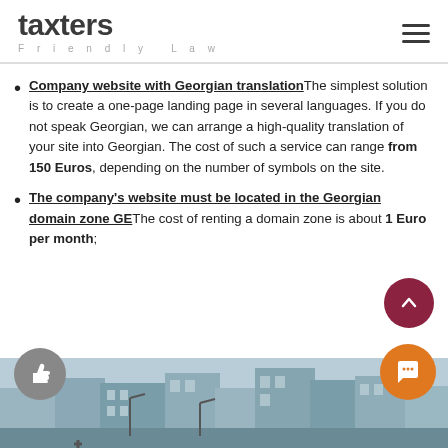[Figure (logo): Taxters Friendly Law logo with hamburger menu icon]
Company website with Georgian translation – The simplest solution is to create a one-page landing page in several languages. If you do not speak Georgian, we can arrange a high-quality translation of your site into Georgian. The cost of such a service can range from 150 Euros, depending on the number of symbols on the site.
The company's website must be located in the Georgian domain zone GE – The cost of renting a domain zone is about 1 Euro per month;
[Figure (photo): City street photo showing buildings in Georgian city]